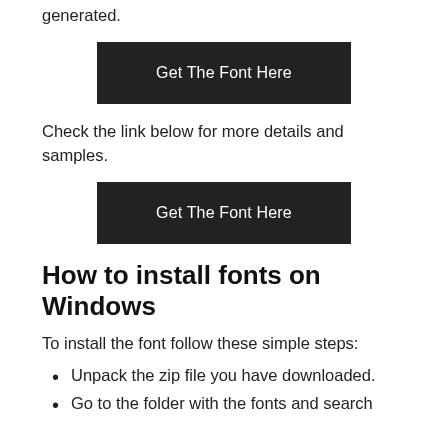generated.
[Figure (other): Dark button labeled 'Get The Font Here']
Check the link below for more details and samples.
[Figure (other): Dark button labeled 'Get The Font Here']
How to install fonts on Windows
To install the font follow these simple steps:
Unpack the zip file you have downloaded.
Go to the folder with the fonts and search for the .OTF or .TTF file (we recommend